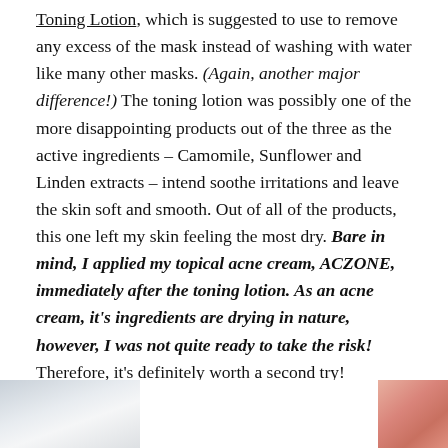Toning Lotion, which is suggested to use to remove any excess of the mask instead of washing with water like many other masks. (Again, another major difference!) The toning lotion was possibly one of the more disappointing products out of the three as the active ingredients – Camomile, Sunflower and Linden extracts – intend soothe irritations and leave the skin soft and smooth. Out of all of the products, this one left my skin feeling the most dry. Bare in mind, I applied my topical acne cream, ACZONE, immediately after the toning lotion. As an acne cream, it's ingredients are drying in nature, however, I was not quite ready to take the risk! Therefore, it's definitely worth a second try!
[Figure (photo): Bottom strip showing partial images: a grey/white surface on the left and a hand/fingers on the right]